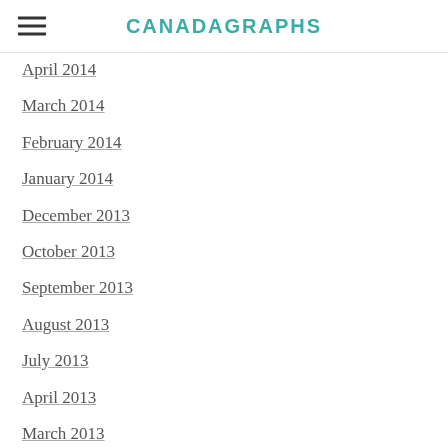CANADAGRAPHS
April 2014
March 2014
February 2014
January 2014
December 2013
October 2013
September 2013
August 2013
July 2013
April 2013
March 2013
February 2013
November 2012
October 2012
August 2012